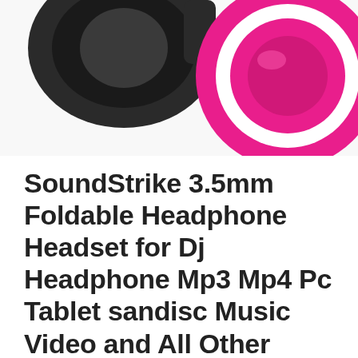[Figure (photo): Partial view of headphones showing black and pink/magenta earcup with white accent ring on white background]
SoundStrike 3.5mm Foldable Headphone Headset for Dj Headphone Mp3 Mp4 Pc Tablet sandisc Music Video and All Other Music Players (Soft Pink)
Leave a Comment / Headphones and Earphones / By digitalupbeat
Model new and Top quality! Take pleasure in your favourite